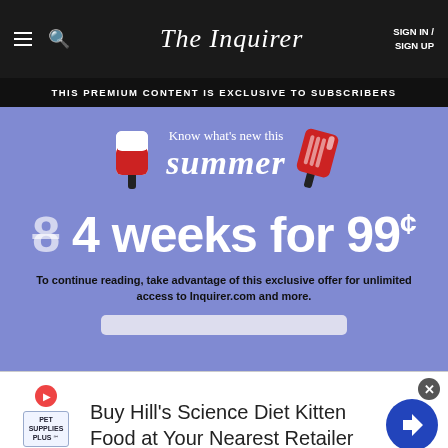The Inquirer  SIGN IN / SIGN UP
THIS PREMIUM CONTENT IS EXCLUSIVE TO SUBSCRIBERS
[Figure (illustration): Summer subscription promotion with popsicle graphics on blue/periwinkle background. Text reads: Know what's new this summer. 8 4 weeks for 99¢]
To continue reading, take advantage of this exclusive offer for unlimited access to Inquirer.com and more.
[Figure (illustration): Advertisement: Buy Hill's Science Diet Kitten Food at Your Nearest Retailer. Pet Supplies Plus logo on left, blue diamond navigation icon on right.]